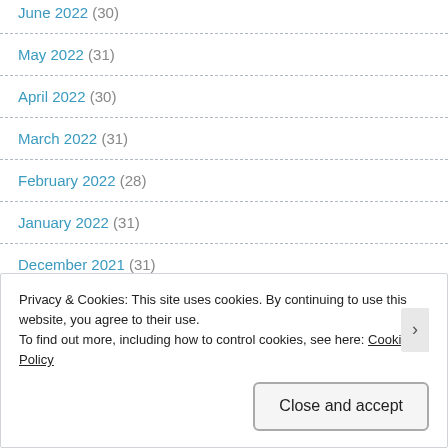June 2022 (30)
May 2022 (31)
April 2022 (30)
March 2022 (31)
February 2022 (28)
January 2022 (31)
December 2021 (31)
Privacy & Cookies: This site uses cookies. By continuing to use this website, you agree to their use.
To find out more, including how to control cookies, see here: Cookie Policy
Close and accept